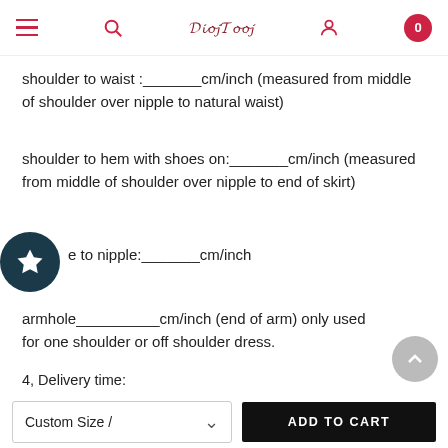Navigation bar with hamburger menu, search, logo, user icon, cart (0)
shoulder to waist :_______cm/inch (measured from middle of shoulder over nipple to natural waist)
shoulder to hem with shoes on:_______cm/inch (measured from middle of shoulder over nipple to end of skirt)
e to nipple:_______cm/inch
armhole__________cm/inch (end of arm) only used for one shoulder or off shoulder dress.
4, Delivery time:
Custom Size /
ADD TO CART